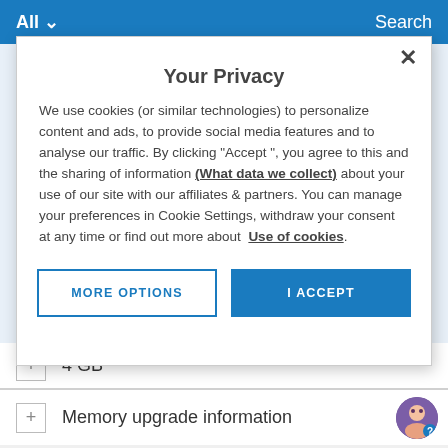All   Search
Your Privacy
We use cookies (or similar technologies) to personalize content and ads, to provide social media features and to analyse our traffic. By clicking "Accept ", you agree to this and the sharing of information (What data we collect) about your use of our site with our affiliates & partners. You can manage your preferences in Cookie Settings, withdraw your consent at any time or find out more about Use of cookies.
MORE OPTIONS
I ACCEPT
4 GB
Memory upgrade information